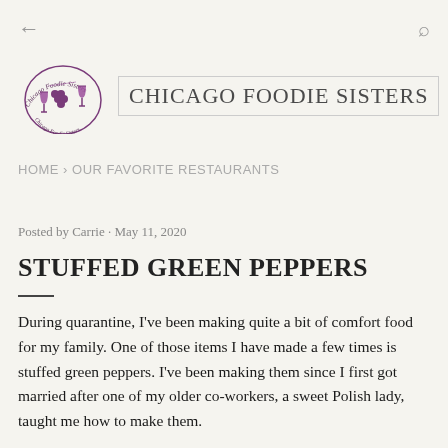← (back) | (search icon)
[Figure (logo): Chicago Foodie Sisters logo with two wine glasses and grapes in purple, with cursive text arching around the top]
CHICAGO FOODIE SISTERS
HOME › OUR FAVORITE RESTAURANTS
Posted by Carrie · May 11, 2020
STUFFED GREEN PEPPERS
During quarantine, I've been making quite a bit of comfort food for my family. One of those items I have made a few times is stuffed green peppers. I've been making them since I first got married after one of my older co-workers, a sweet Polish lady, taught me how to make them.